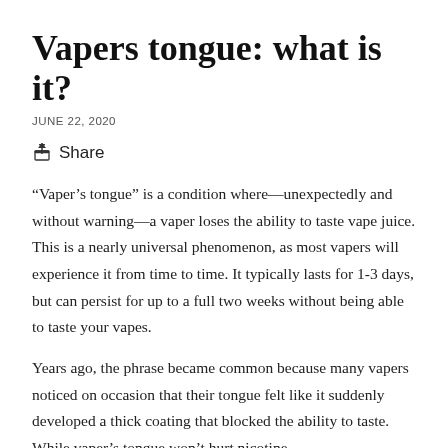Vapers tongue: what is it?
JUNE 22, 2020
Share
“Vaper’s tongue” is a condition where—unexpectedly and without warning—a vaper loses the ability to taste vape juice. This is a nearly universal phenomenon, as most vapers will experience it from time to time. It typically lasts for 1-3 days, but can persist for up to a full two weeks without being able to taste your vapes.
Years ago, the phrase became common because many vapers noticed on occasion that their tongue felt like it suddenly developed a thick coating that blocked the ability to taste. While vaper’s tongue won’t hurt nicotine